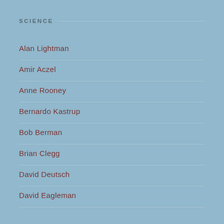SCIENCE
Alan Lightman
Amir Aczel
Anne Rooney
Bernardo Kastrup
Bob Berman
Brian Clegg
David Deutsch
David Eagleman